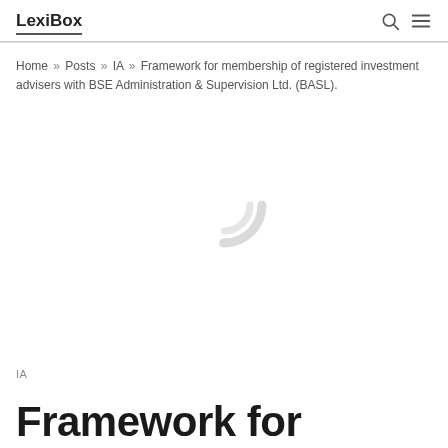LexiBox
Home » Posts » IA » Framework for membership of registered investment advisers with BSE Administration & Supervision Ltd. (BASL).
[Figure (other): Circular spinner/loading ring graphic, gray, centered on page]
IA
Framework for